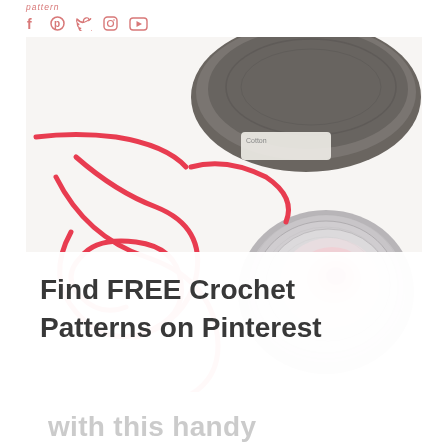pattern — social icons: f, p (Pinterest), Twitter, Instagram, YouTube
[Figure (photo): Photo of yarn balls and loose yarn string on a white surface. A large dark grey/charcoal yarn skein is in the top center, labeled 'Cotton'. Below it is a colorful yarn cake with pink center fading to grey/white on the outside. A bright red/coral loose yarn string creates loops and curves across the left side of the image. Overlaid on the lower part of the image in bold dark grey text: 'Find FREE Crochet Patterns on Pinterest']
with this handy